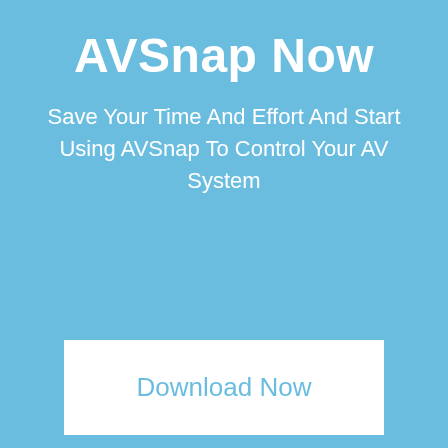AVSnap Now
Save Your Time And Effort And Start Using AVSnap To Control Your AV System
[Figure (other): Download Now button — white rectangle with light blue text]
This site uses cookies. By continuing to use this website, you agree to their use. For details, please check our Privacy Policy
[Figure (other): Got it button — teal/blue rectangle with white bold text on green cookie banner]